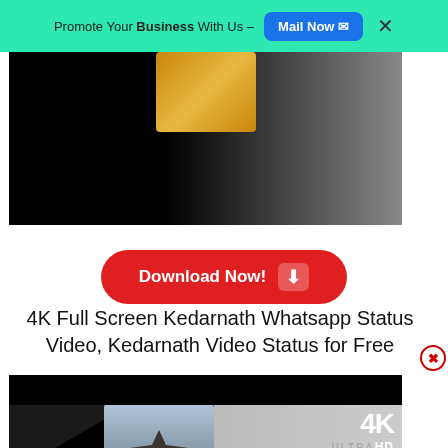Promote Your Business With Us – Mail Now ✉  ✕
[Figure (screenshot): Top video thumbnail showing a dark frame with a golden rectangular element centered at top, fading to gray on the right.]
[Figure (screenshot): Red Download Now! button with downward arrow icon]
4K Full Screen Kedarnath Whatsapp Status Video, Kedarnath Video Status for Free
[Figure (screenshot): Bottom video thumbnail showing Kedarnath temple in snowy setting, 4K Ultra HD logo top right, play button in center, black bars top. Triangle diagonal dark shape on left.]